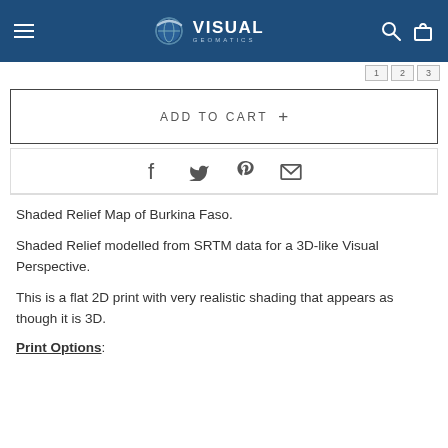Visual Geomatics
ADD TO CART +
[Figure (infographic): Social share icons: Facebook, Twitter, Pinterest, Email]
Shaded Relief Map of Burkina Faso.
Shaded Relief modelled from SRTM data for a 3D-like Visual Perspective.
This is a flat 2D print with very realistic shading that appears as though it is 3D.
Print Options: